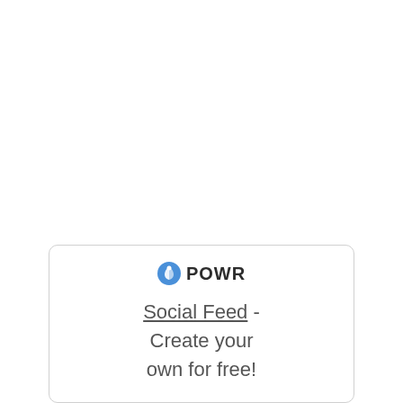[Figure (logo): POWR logo with blue circular icon and bold text 'POWR', followed by text 'Social Feed - Create your own for free!' in a rounded card at bottom center of page]